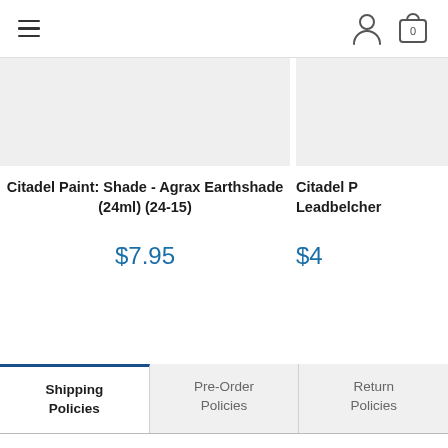Navigation bar with hamburger menu, user icon, and cart (0)
[Figure (photo): Product image placeholder (light gray rectangle) for Citadel Paint: Shade - Agrax Earthshade]
Citadel Paint: Shade - Agrax Earthshade (24ml) (24-15)
$7.95
[Figure (photo): Product image placeholder (light gray rectangle) for Citadel Paint: Leadbelcher]
Citadel P... Leadbelcher
$4...
Shipping Policies	Pre-Order Policies	Return Policies